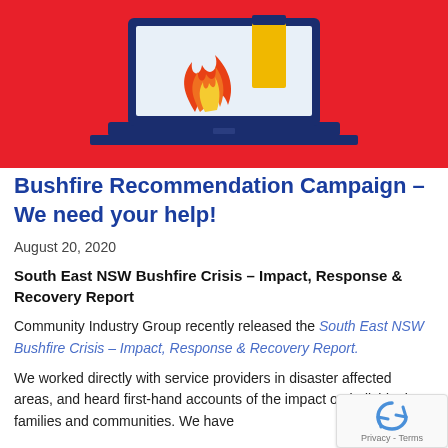[Figure (illustration): Illustration of a laptop computer with flames on the screen, against a red background. The laptop has a dark navy blue frame and a yellow/gold element on screen. The scene suggests a bushfire/cyber emergency theme.]
Bushfire Recommendation Campaign – We need your help!
August 20, 2020
South East NSW Bushfire Crisis – Impact, Response & Recovery Report
Community Industry Group recently released the South East NSW Bushfire Crisis – Impact, Response & Recovery Report.
We worked directly with service providers in disaster affected areas, and heard first-hand accounts of the impact on individuals, families and communities. We have